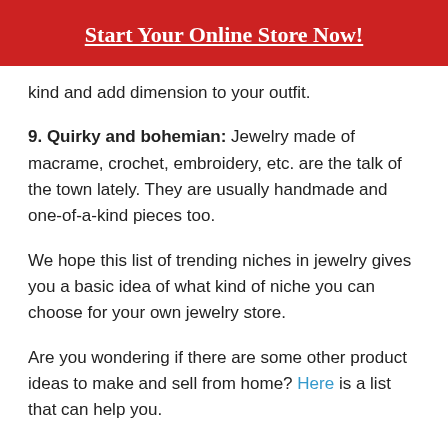Start Your Online Store Now!
kind and add dimension to your outfit.
9. Quirky and bohemian: Jewelry made of macrame, crochet, embroidery, etc. are the talk of the town lately. They are usually handmade and one-of-a-kind pieces too.
We hope this list of trending niches in jewelry gives you a basic idea of what kind of niche you can choose for your own jewelry store.
Are you wondering if there are some other product ideas to make and sell from home? Here is a list that can help you.